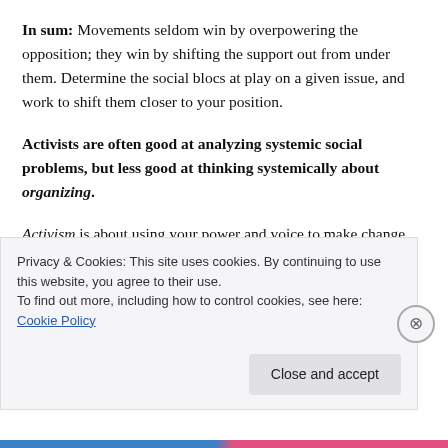In sum: Movements seldom win by overpowering the opposition; they win by shifting the support out from under them. Determine the social blocs at play on a given issue, and work to shift them closer to your position.
Activists are often good at analyzing systemic social problems, but less good at thinking systemically about organizing.
Activism is about using your power and voice to make change. Organizing is about that, too, but it's also about
Privacy & Cookies: This site uses cookies. By continuing to use this website, you agree to their use.
To find out more, including how to control cookies, see here: Cookie Policy